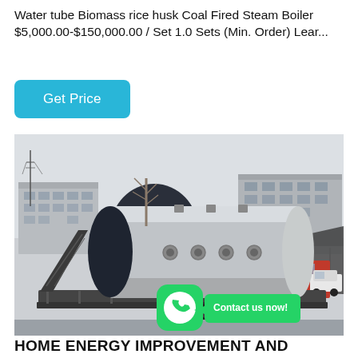Water tube Biomass rice husk Coal Fired Steam Boiler $5,000.00-$150,000.00 / Set 1.0 Sets (Min. Order) Lear...
Get Price
[Figure (photo): Large industrial steam boiler mounted horizontally on a flatbed transport truck/trailer in an industrial yard. Buildings and a red truck visible in the background. A green WhatsApp button overlaid with 'Contact us now!' text.]
HOME ENERGY IMPROVEMENT AND